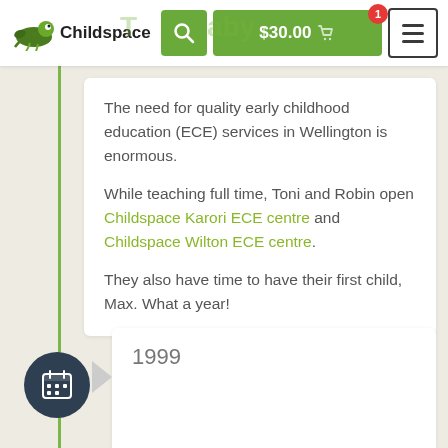[Figure (screenshot): Childspace website navigation bar with logo, search button, cart showing $30.00 with badge of 1, and hamburger menu]
The need for quality early childhood education (ECE) services in Wellington is enormous.
While teaching full time, Toni and Robin open Childspace Karori ECE centre and Childspace Wilton ECE centre.
They also have time to have their first child, Max. What a year!
1999